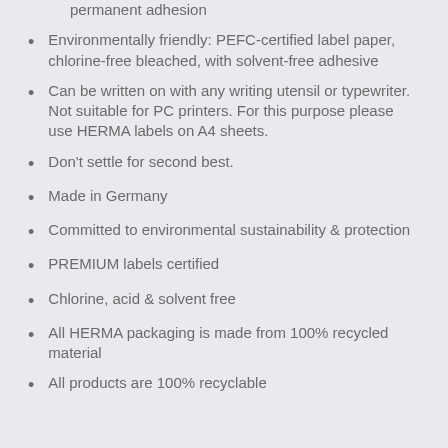permanent adhesion
Environmentally friendly: PEFC-certified label paper, chlorine-free bleached, with solvent-free adhesive
Can be written on with any writing utensil or typewriter. Not suitable for PC printers. For this purpose please use HERMA labels on A4 sheets.
Don’t settle for second best.
Made in Germany
Committed to environmental sustainability & protection
PREMIUM labels certified
Chlorine, acid & solvent free
All HERMA packaging is made from 100% recycled material
All products are 100% recyclable